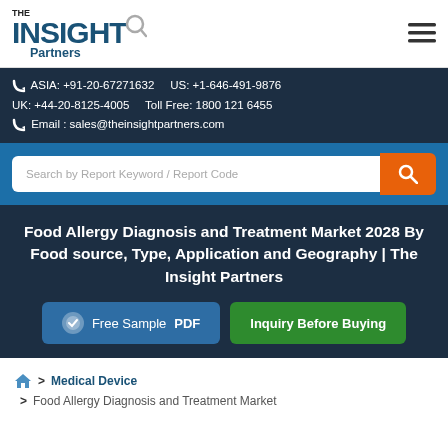[Figure (logo): The Insight Partners logo with magnifier icon]
ASIA: +91-20-67271632   US: +1-646-491-9876
UK: +44-20-8125-4005   Toll Free: 1800 121 6455
Email : sales@theinsightpartners.com
[Figure (other): Search bar with search by Report Keyword / Report Code placeholder and orange search button]
Food Allergy Diagnosis and Treatment Market 2028 By Food source, Type, Application and Geography | The Insight Partners
Free Sample PDF   Inquiry Before Buying
> Medical Device
> Food Allergy Diagnosis and Treatment Market